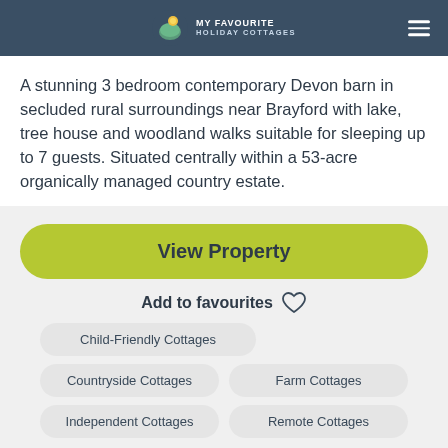MY FAVOURITE HOLIDAY COTTAGES
A stunning 3 bedroom contemporary Devon barn in secluded rural surroundings near Brayford with lake, tree house and woodland walks suitable for sleeping up to 7 guests. Situated centrally within a 53-acre organically managed country estate.
View Property
Add to favourites
Child-Friendly Cottages
Countryside Cottages
Farm Cottages
Independent Cottages
Remote Cottages